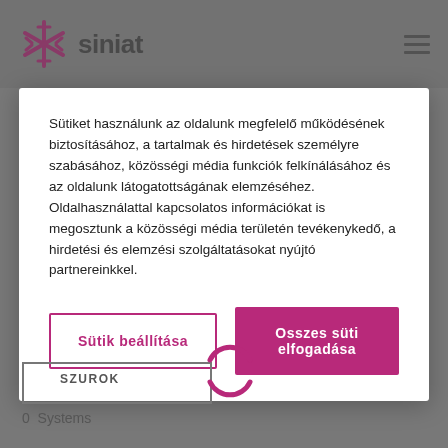[Figure (logo): Siniat brand logo with pink snowflake/asterisk icon and 'siniat' text in dark grey]
Sütiket használunk az oldalunk megfelelő működésének biztosításához, a tartalmak és hirdetések személyre szabásához, közösségi média funkciók felkínálásához és az oldalunk látogatottságának elemzéséhez. Oldalhasználattal kapcsolatos információkat is megosztunk a közösségi média területén tevékenykedő, a hirdetési és elemzési szolgáltatásokat nyújtó partnereinkkel.
Sütik beállítása
Osszes süti elfogadása
SZUROK
0  Systems